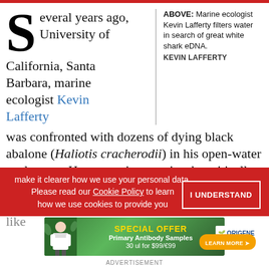Several years ago, University of California, Santa Barbara, marine ecologist Kevin Lafferty was confronted with dozens of dying black abalone (Haliotis cracherodii) in his open-water enclosures. He was trying to raise the critically endangered species to test whether any individuals were resistant to the Rickettsiales-like
ABOVE: Marine ecologist Kevin Lafferty filters water in search of great white shark eDNA.
KEVIN LAFFERTY
make it clearer how we use your personal data.
Please read our Cookie Policy to learn how we use cookies to provide you
[Figure (infographic): Green advertisement banner for OriGene: SPECIAL OFFER - Primary Antibody Samples 30 ul for $99/€99, with LEARN MORE button and figure of scientist in lab coat]
ADVERTISEMENT